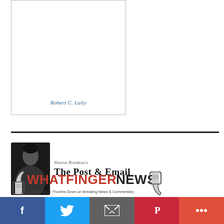[Figure (illustration): Book cover image with white background and author name 'Robert C. Laity' in blue italic text at the bottom]
[Figure (logo): Sharon Rondeau's The Post & Email logo with a photo of a woman in black and blackletter title text]
[Figure (logo): Whatfinger News logo with thumbs up and thumbs down icons and tagline 'Thumbs Up or Thumbs Down on Breaking News & Commentary']
Political News
[Figure (other): Social media sharing bar with Facebook, Twitter, Email, Pinterest, and More buttons]